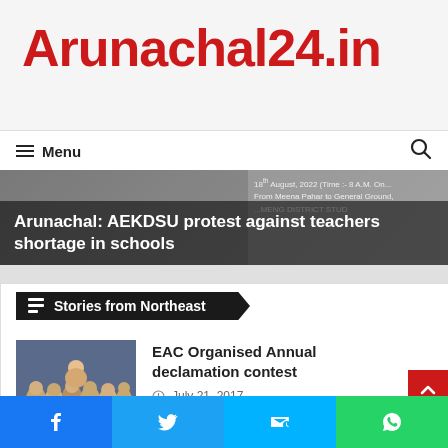Arunachal24.in
Menu
[Figure (photo): News banner showing AEKDSU protest event with text overlay: 'Arunachal: AEKDSU protest against teachers shortage in schools' and date text '18th August, 2022 (Time:- 8 A.M. On... From Meena Pahar to General Ground, ...MENG DISTRICT STUD...']
Stories from Northeast
[Figure (photo): Group photo of students/children at the EAC Annual declamation contest event]
EAC Organised Annual declamation contest
July 21, 2017